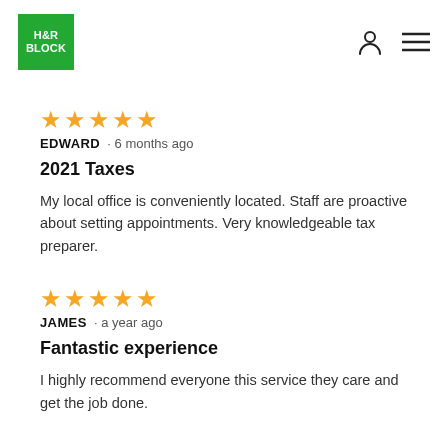H&R BLOCK
★★★★★  EDWARD · 6 months ago
2021 Taxes
My local office is conveniently located. Staff are proactive about setting appointments. Very knowledgeable tax preparer.
★★★★★  JAMES · a year ago
Fantastic experience
I highly recommend everyone this service they care and get the job done.